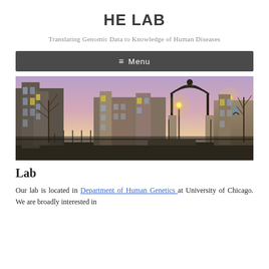HE LAB
Translating Genomic Data to Knowledge of Human Diseases
≡ Menu
[Figure (photo): University of Chicago campus photo at dusk showing Gothic stone buildings, an ornate iron gate arch, and street lamps glowing against a pink and blue twilight sky with bare trees.]
Lab
Our lab is located in Department of Human Genetics  at University of Chicago.  We are broadly interested in